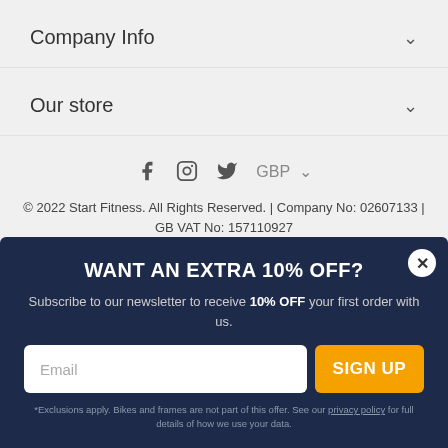Company Info
Our store
[Figure (other): Social media icons: Facebook, Instagram, Twitter; and GBP currency selector]
© 2022 Start Fitness. All Rights Reserved. | Company No: 02607133 | GB VAT No: 157110927
Finance provided by PayPal Credit and V12 Retail Finance. Terms and Conditions apply. Credit subject to status. UK residents only. W&M Wholesale Limited acts as a broker and offers finance from a restricted range of finance providers. PayPal Credit is a trading name of PayPal (Europe)
WANT AN EXTRA 10% OFF?
Subscribe to our newsletter to receive 10% OFF your first order with us.
Email
SIGN UP
*Exclusions apply. Bikes and frames are not part of this offer. See our privacy policy for full details of how we use your data.